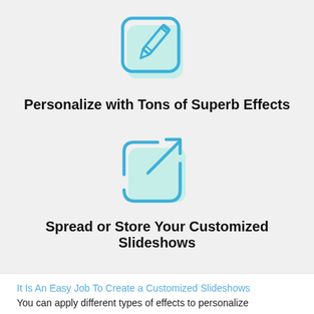[Figure (illustration): Blue outlined icon of a pencil writing on a document, with a light mint/teal square background shape behind it]
Personalize with Tons of Superb Effects
[Figure (illustration): Blue outlined icon of a share/export arrow coming out of a rounded square, with a light mint/teal square background shape behind it]
Spread or Store Your Customized Slideshows
It Is An Easy Job To Create a Customized Slideshows
You can apply different types of effects to personalize